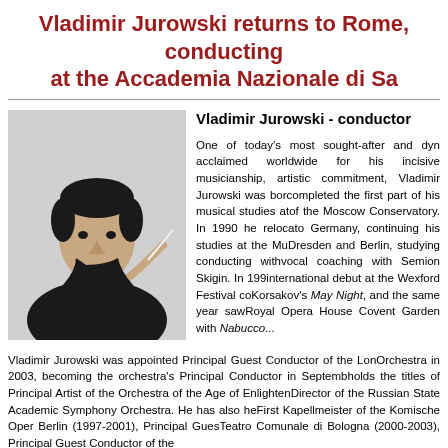Vladimir Jurowski returns to Rome, conducting at the Accademia Nazionale di S...
[Figure (photo): Black and white portrait photo of Vladimir Jurowski, a young man in a dark turtleneck holding a conductor's baton, looking at the camera]
Vladimir Jurowski - conductor
One of today's most sought-after and dyn... acclaimed worldwide for his incisive musicianship, artistic commitment, Vladimir Jurowski was born... completed the first part of his musical studies at... of the Moscow Conservatory. In 1990 he reloca... to Germany, continuing his studies at the Mu... Dresden and Berlin, studying conducting with... vocal coaching with Semion Skigin. In 199... international debut at the Wexford Festival co... Korsakov's May Night, and the same year saw... Royal Opera House Covent Garden with Nabucco...
Vladimir Jurowski was appointed Principal Guest Conductor of the London... Orchestra in 2003, becoming the orchestra's Principal Conductor in September... holds the titles of Principal Artist of the Orchestra of the Age of Enlighten... Director of the Russian State Academic Symphony Orchestra. He has also he... First Kapellmeister of the Komische Oper Berlin (1997-2001), Principal Gues... Teatro Comunale di Bologna (2000-2003), Principal Guest Conductor of the...